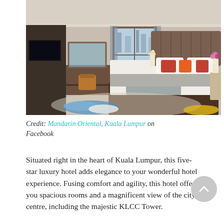[Figure (photo): Hotel room interior at Mandarin Oriental, Kuala Lumpur — a luxury five-star hotel room featuring a large king-sized bed with white linens and decorative pillows, a sitting bench at the foot of the bed, nightstands with lamps, a desk area with mirror, flat-screen TV, and a decorative floral-patterned rug with blue and yellow accents.]
Credit: Mandarin Oriental, Kuala Lumpur on Facebook
Situated right in the heart of Kuala Lumpur, this five-star luxury hotel adds elegance to your wonderful hotel experience. Fusing comfort and agility, this hotel offers you spacious rooms and a magnificent view of the city centre, including the majestic KLCC Tower.